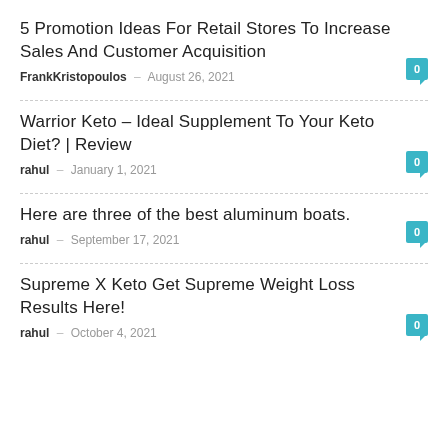5 Promotion Ideas For Retail Stores To Increase Sales And Customer Acquisition
FrankKristopoulos – August 26, 2021
Warrior Keto – Ideal Supplement To Your Keto Diet? | Review
rahul – January 1, 2021
Here are three of the best aluminum boats.
rahul – September 17, 2021
Supreme X Keto Get Supreme Weight Loss Results Here!
rahul – October 4, 2021